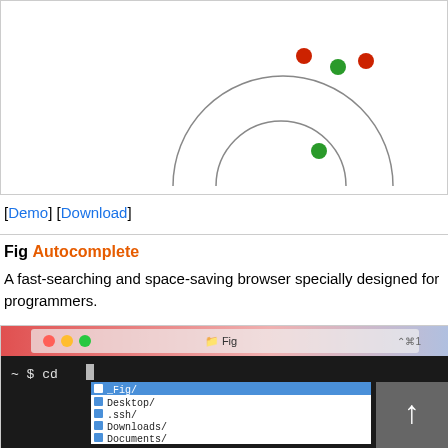[Figure (illustration): Partial diagram showing colored dots (red and green) arranged in a pattern, with two concentric arc shapes (half-circles) in the center-lower area. One green dot is on the right side near the arcs.]
[Demo] [Download]
Fig Autocomplete
A fast-searching and space-saving browser specially designed for programmers.
[Figure (screenshot): Screenshot of a terminal application called Fig showing autocomplete dropdown with options: _Fig/, Desktop/, .ssh/, Downloads/, Documents/ after typing '~ $ cd ']